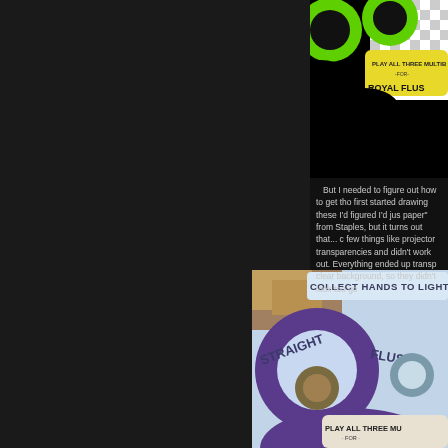[Figure (photo): Top portion of a card game graphic showing green circles with text 'PLAY ALL THREE MULTIB FOR ROYAL FLUS' on a yellow banner, black and white background]
But I needed to figure out how to get tho first started drawing these I'd figured I'd jus paper" from Staples, but it turns out that... c few things like projector transparencies and didn't work out. Everything ended up transp clear background, so they didn't look too go
[Figure (photo): Photo of a physical card game piece showing 'COLLECT HANDS TO LIGHT' text, and curved text reading 'STRAIGHT' and 'FLUSH' on a blue plastic piece with circular holes, and a yellow banner reading 'PLAY ALL THREE MU FOR ROYAL']